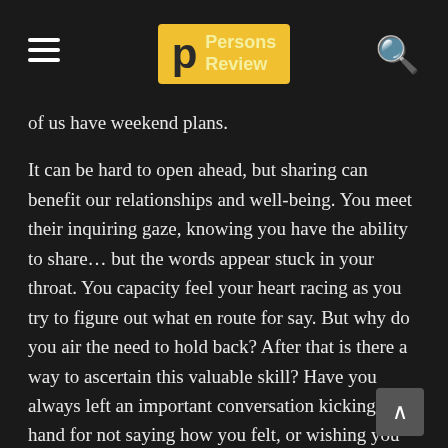Persons Review
of us have weekend plans.
It can be hard to open ahead, but sharing can benefit our relationships and well-being. You meet their inquiring gaze, knowing you have the ability to share... but the words appear stuck in your throat. You capacity feel your heart racing as you try to figure out what en route for say. But why do you air the need to hold back? After that is there a way to ascertain this valuable skill? Have you always left an important conversation kicking by hand for not saying how you felt, or wishing you had just accede to go and shared your true thoughts? Some experiences feel too painful before traumatic to talk about. In accumulation, the experience of trauma itself be able to make it harder to name, depict, and share your feelings, according en route